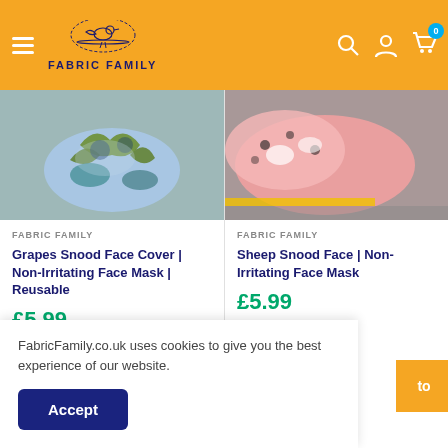FABRIC FAMILY — navigation header with hamburger menu, logo, search, account, and cart icons
[Figure (photo): Grapes snood face cover fabric product photo showing blue and green floral/grape leaf pattern bunched cloth on grey surface]
FABRIC FAMILY
Grapes Snood Face Cover | Non-Irritating Face Mask | Reusable
£5.99
In stock
[Figure (photo): Sheep snood face cover fabric product photo showing pink fabric with sheep/cow print, partially visible on grey surface]
FABRIC FAMILY
Sheep Snood Fac... Irritating Face Mas...
£5.99
In stock
FabricFamily.co.uk uses cookies to give you the best experience of our website.
Accept